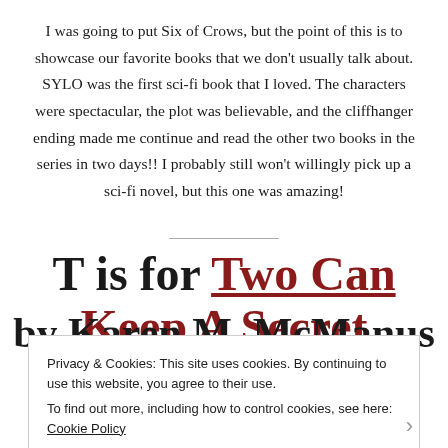I was going to put Six of Crows, but the point of this is to showcase our favorite books that we don't usually talk about. SYLO was the first sci-fi book that I loved. The characters were spectacular, the plot was believable, and the cliffhanger ending made me continue and read the other two books in the series in two days!! I probably still won't willingly pick up a sci-fi novel, but this one was amazing!
T is for Two Can Keep A Secret by Karen M. McManus
Privacy & Cookies: This site uses cookies. By continuing to use this website, you agree to their use. To find out more, including how to control cookies, see here: Cookie Policy